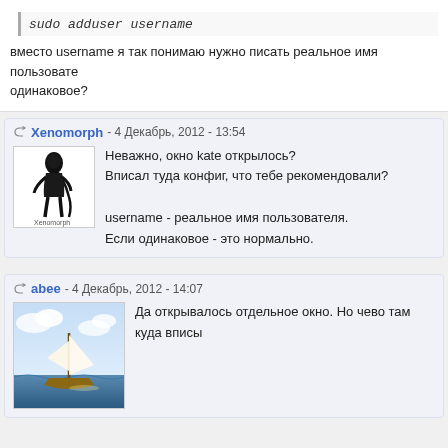sudo adduser username
вместо username я так понимаю нужно писать реальное имя пользователя. одинаковое?
Xenomorph - 4 Декабрь, 2012 - 13:54
Неважно, окно kate открылось?
Вписал туда конфиг, что тебе рекомендовали?

username - реальное имя пользователя.
Если одинаковое - это нормально.
abee - 4 Декабрь, 2012 - 14:07
Да открывалось отдельное окно. Но чево там куда вписы